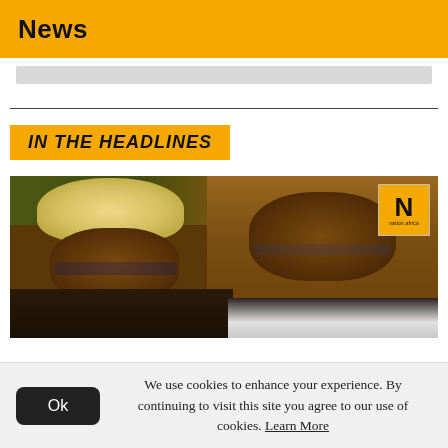News
IN THE HEADLINES
[Figure (photo): Two men photographed indoors. On the left, a person wearing a legal barrister's white wig and glasses. On the right, an older man wearing glasses. A Nation.africa logo overlay appears in the top right corner of the image.]
We use cookies to enhance your experience. By continuing to visit this site you agree to our use of cookies. Learn More